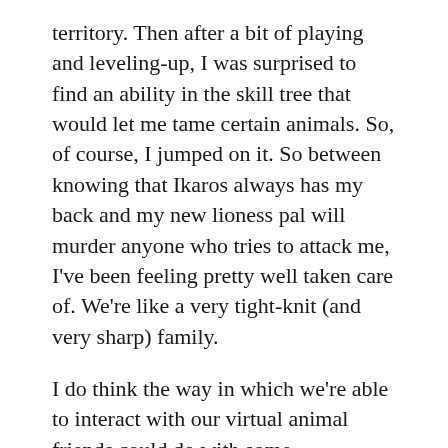territory. Then after a bit of playing and leveling-up, I was surprised to find an ability in the skill tree that would let me tame certain animals. So, of course, I jumped on it. So between knowing that Ikaros always has my back and my new lioness pal will murder anyone who tries to attack me, I've been feeling pretty well taken care of. We're like a very tight-knit (and very sharp) family.
I do think the way in which we're able to interact with our virtual animal friends could do with some improvements, of course. Dogmeat is way too easy to get killed, which is heartbreaking the first time and frustrating the tenth; as of the last time I played World of Warcraft (which was more years ago than I'd like to think about) the only thing you could do